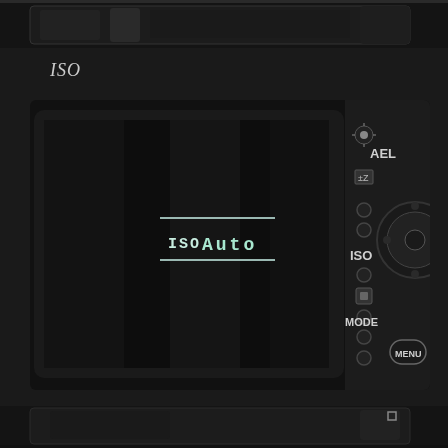[Figure (photo): Top partial view of a dark camera body, cropped strip showing the top edge of the camera.]
ISO
[Figure (photo): Close-up photograph of the back of a camera body showing the LCD screen displaying 'ISO Auto', and buttons labeled AEL, ISO, MODE, MENU on the right side.]
Metering method.
[Figure (photo): Bottom partial view of a dark camera body, cropped strip showing the bottom portion of the camera.]